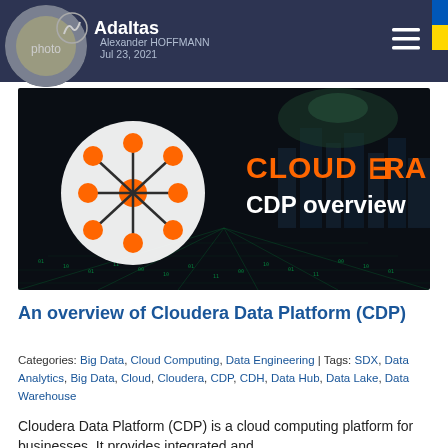Adaltas — Alexander HOFFMANN, Jul 23, 2021
[Figure (illustration): Cloudera CDP overview banner image with dark background showing city skyline and matrix-like green text on floor. Left side shows a circular network/hub diagram with orange nodes on white circle background. Right side shows orange 'CLOUDERA' text and white 'CDP overview' text.]
An overview of Cloudera Data Platform (CDP)
Categories: Big Data, Cloud Computing, Data Engineering | Tags: SDX, Data Analytics, Big Data, Cloud, Cloudera, CDP, CDH, Data Hub, Data Lake, Data Warehouse
Cloudera Data Platform (CDP) is a cloud computing platform for businesses. It provides integrated and